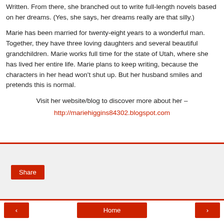Written. From there, she branched out to write full-length novels based on her dreams. (Yes, she says, her dreams really are that silly.)
Marie has been married for twenty-eight years to a wonderful man. Together, they have three loving daughters and several beautiful grandchildren. Marie works full time for the state of Utah, where she has lived her entire life. Marie plans to keep writing, because the characters in her head won't shut up. But her husband smiles and pretends this is normal.
Visit her website/blog to discover more about her –
http://mariehiggins84302.blogspot.com
[Figure (other): Red-bordered share section with a Share button]
[Figure (other): Navigation bar with left arrow, Home, and right arrow buttons]